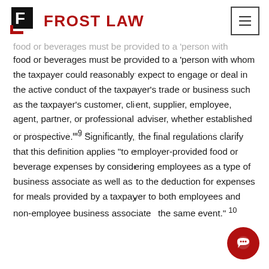FROST LAW
food or beverages must be provided to a 'person with whom the taxpayer could reasonably expect to engage or deal in the active conduct of the taxpayer's trade or business such as the taxpayer's customer, client, supplier, employee, agent, partner, or professional adviser, whether established or prospective.'"9 Significantly, the final regulations clarify that this definition applies "to employer-provided food or beverage expenses by considering employees as a type of business associate as well as to the deduction for expenses for meals provided by a taxpayer to both employees and non-employee business associates at the same event." 10